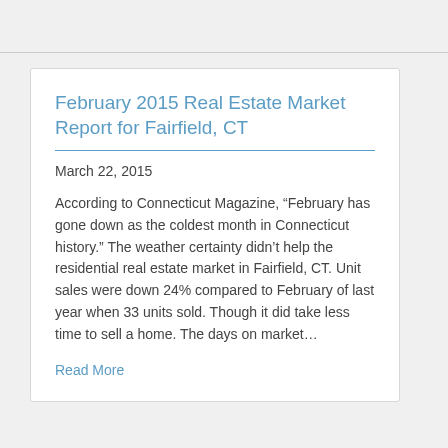February 2015 Real Estate Market Report for Fairfield, CT
March 22, 2015
According to Connecticut Magazine, “February has gone down as the coldest month in Connecticut history.”  The weather certainty didn’t help the residential real estate market in Fairfield, CT.  Unit sales were down 24% compared to February of last year when 33 units sold.  Though it did take less time to sell a home.  The days on market…
Read More